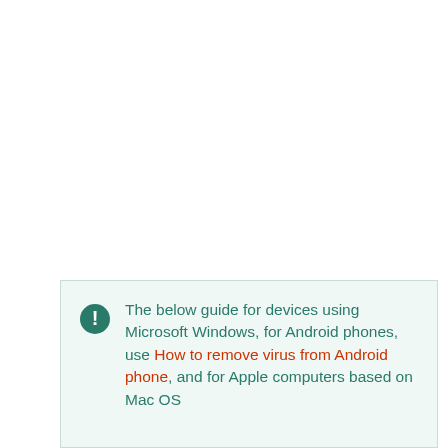The below guide for devices using Microsoft Windows, for Android phones, use How to remove virus from Android phone, and for Apple computers based on Mac OS